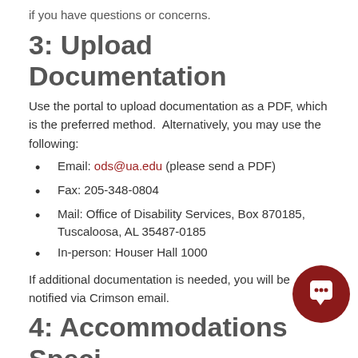if you have questions or concerns.
3: Upload Documentation
Use the portal to upload documentation as a PDF, which is the preferred method.  Alternatively, you may use the following:
Email: ods@ua.edu (please send a PDF)
Fax: 205-348-0804
Mail: Office of Disability Services, Box 870185, Tuscaloosa, AL 35487-0185
In-person: Houser Hall 1000
If additional documentation is needed, you will be notified via Crimson email.
4: Accommodations Specialist Reviews Documentation
After submitting documentation, you will receive an email